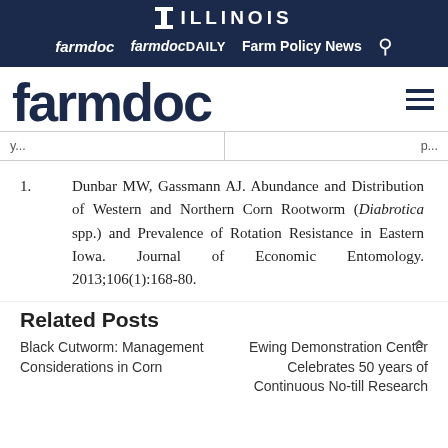ILLINOIS farmdoc farmdocDAILY Farm Policy News
farmdoc
| y... | p... |
1. Dunbar MW, Gassmann AJ. Abundance and Distribution of Western and Northern Corn Rootworm (Diabrotica spp.) and Prevalence of Rotation Resistance in Eastern Iowa. Journal of Economic Entomology. 2013;106(1):168-80.
Related Posts
Black Cutworm: Management Considerations in Corn
Ewing Demonstration Center Celebrates 50 years of Continuous No-till Research